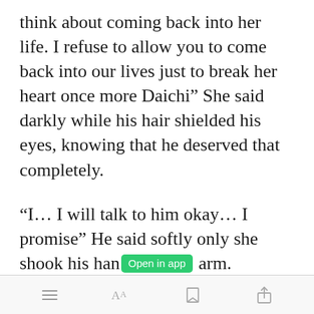think about coming back into her life. I refuse to allow you to come back into our lives just to break her heart once more Daichi” She said darkly while his hair shielded his eyes, knowing that he deserved that completely.
“I… I will talk to him okay… I promise” He said softly only she shook his hand off his arm.
[Figure (screenshot): Green 'Open in app' button overlay on text]